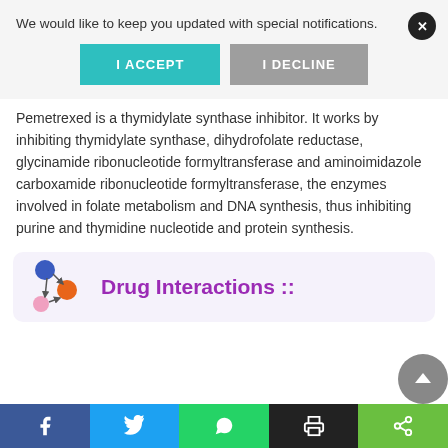We would like to keep you updated with special notifications.
I ACCEPT
I DECLINE
Pemetrexed is a thymidylate synthase inhibitor. It works by inhibiting thymidylate synthase, dihydrofolate reductase, glycinamide ribonucleotide formyltransferase and aminoimidazole carboxamide ribonucleotide formyltransferase, the enzymes involved in folate metabolism and DNA synthesis, thus inhibiting purine and thymidine nucleotide and protein synthesis.
[Figure (other): Drug interactions network icon with colored nodes (blue, orange, pink) and directional arrows]
Drug Interactions ::